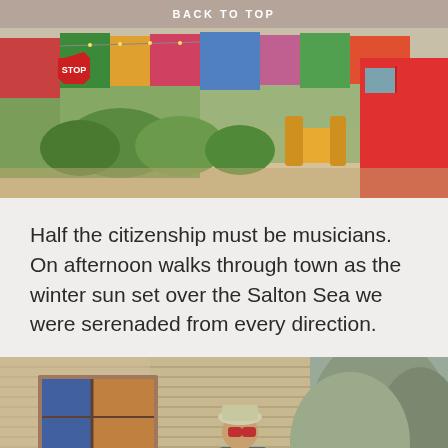BACK TO TOP
[Figure (photo): Colorful outdoor scene in what appears to be a desert town (Slab City area), showing eclectic decorations, colorful fabrics, plants, a yellow chair, and a red trailer/structure on the right. A STOP sign is visible in the upper left.]
Half the citizenship must be musicians. On afternoon walks through town as the winter sun set over the Salton Sea we were serenaded from every direction.
[Figure (photo): A man with a hat and goggles playing a blue guitar, standing in front of a corrugated metal wall/trailer. A window with colorful decorations is visible to the left, and a rocky hillside is in the background on the right.]